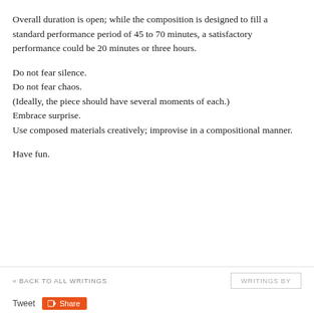Overall duration is open; while the composition is designed to fill a standard performance period of 45 to 70 minutes, a satisfactory performance could be 20 minutes or three hours.
Do not fear silence.
Do not fear chaos.
(Ideally, the piece should have several moments of each.)
Embrace surprise.
Use composed materials creatively; improvise in a compositional manner.
Have fun.
« BACK TO ALL WRITINGS    WRITINGS BY
Tweet  Share